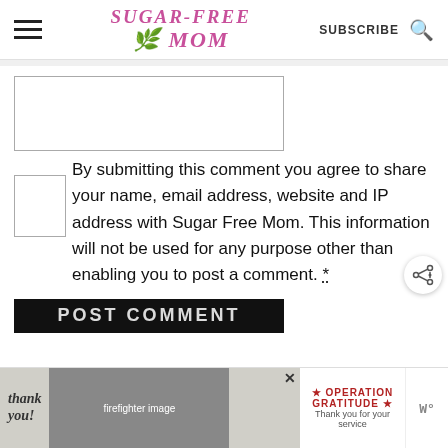Sugar-Free Mom — SUBSCRIBE
[Figure (screenshot): Textarea input box for comment]
By submitting this comment you agree to share your name, email address, website and IP address with Sugar Free Mom. This information will not be used for any purpose other than enabling you to post a comment. *
[Figure (photo): Advertisement banner: Thank you Operation Gratitude with firefighter image]
POST COMMENT